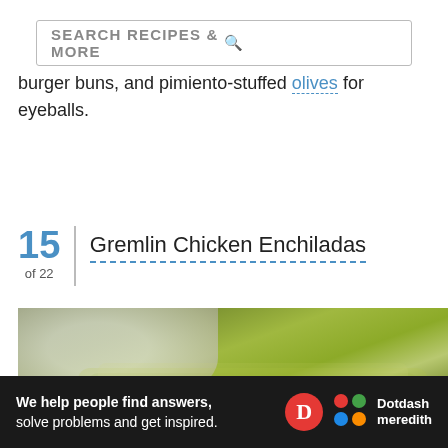SEARCH RECIPES & MORE
burger buns, and pimiento-stuffed olives for eyeballs.
15 of 22 | Gremlin Chicken Enchiladas
[Figure (photo): Photo of Gremlin Chicken Enchiladas — green-sauced enchiladas on a blue-grey plate with a white cream dollop, fork visible on the left, small plate with garnish in background]
We help people find answers, solve problems and get inspired. Dotdash meredith